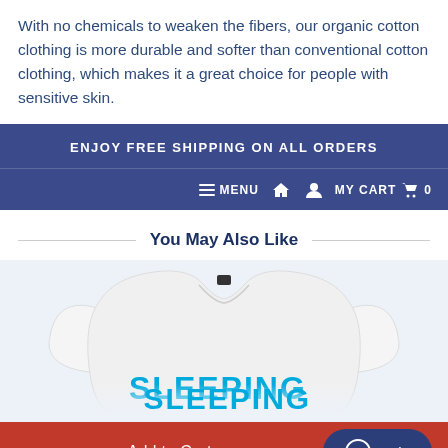With no chemicals to weaken the fibers, our organic cotton clothing is more durable and softer than conventional cotton clothing, which makes it a great choice for people with sensitive skin.
ENJOY FREE SHIPPING ON ALL ORDERS
MENU  HOME  ACCOUNT  MY CART  0
You May Also Like
[Figure (photo): Baby onesie product image, white short-sleeve bodysuit with 'SLEEPING' text printed in blue, partially visible]
Add to Cart
Help